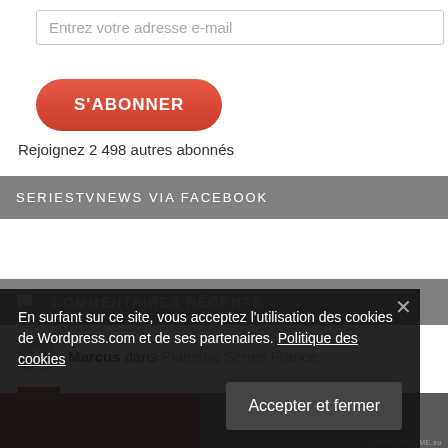Entrez votre adresse e-mail
S'ABONNER
Rejoignez 2 498 autres abonnés
SERIESTVNEWS VIA FACEBOOK
COMMENTAIRES RÉCENTS
Marcus dans Planning Séries France
En surfant sur ce site, vous acceptez l'utilisation des cookies de Wordpress.com et de ses partenaires. Politique des cookies
Accepter et fermer